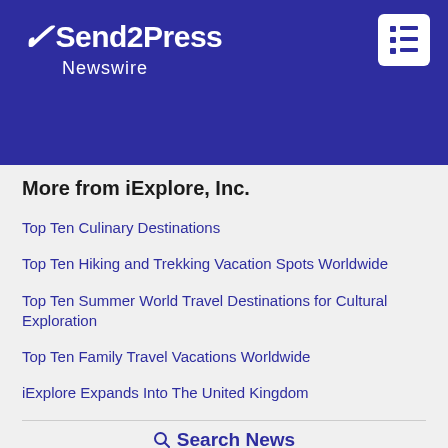Send2Press Newswire
More from iExplore, Inc.
Top Ten Culinary Destinations
Top Ten Hiking and Trekking Vacation Spots Worldwide
Top Ten Summer World Travel Destinations for Cultural Exploration
Top Ten Family Travel Vacations Worldwide
iExplore Expands Into The United Kingdom
Search News